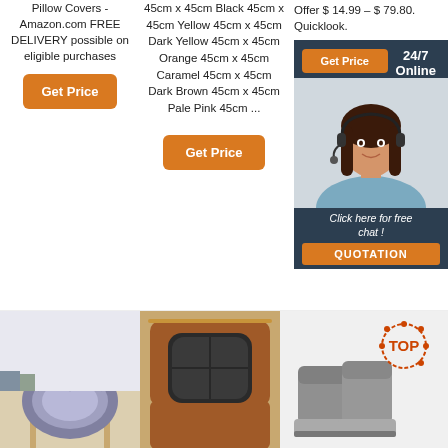Pillow Covers - Amazon.com FREE DELIVERY possible on eligible purchases
[Figure (other): Orange 'Get Price' button]
45cm x 45cm Black 45cm x 45cm Yellow 45cm x 45cm Dark Yellow 45cm x 45cm Orange 45cm x 45cm Caramel 45cm x 45cm Dark Brown 45cm x 45cm Pale Pink 45cm ...
[Figure (other): Orange 'Get Price' button (center column)]
[Figure (other): Chat widget with 'Get Price' button, '24/7 Online' label, photo of woman with headset, 'Click here for free chat!' text, and QUOTATION button]
[Figure (photo): Gray fluffy sheepskin rug on a chair]
[Figure (photo): Dark gray cushion on a brown leather chair]
[Figure (photo): Gray UGG-style boots with orange TOP logo/badge]